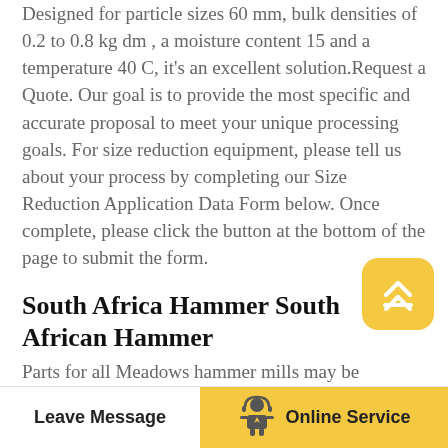Designed for particle sizes 60 mm, bulk densities of 0.2 to 0.8 kg dm , a moisture content 15 and a temperature 40 C, it's an excellent solution.Request a Quote. Our goal is to provide the most specific and accurate proposal to meet your unique processing goals. For size reduction equipment, please tell us about your process by completing our Size Reduction Application Data Form below. Once complete, please click the button at the bottom of the page to submit the form.
South Africa Hammer South African Hammer
Parts for all Meadows hammer mills may be purchased by contacting Meadows Mills directly. We are happy to evaluate any product free of charge. If you are interested in sending a product for evaluation
Leave Message   Online Service